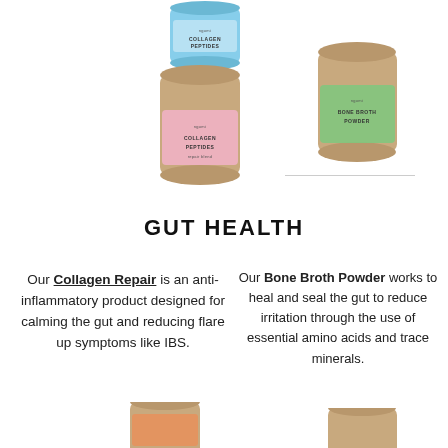[Figure (photo): Blue collagen peptides product container at top center]
[Figure (photo): Pink/beige collagen peptides product container, center left]
[Figure (photo): Green bone broth powder product container, top right]
GUT HEALTH
Our Collagen Repair is an anti-inflammatory product designed for calming the gut and reducing flare up symptoms like IBS.
Our Bone Broth Powder works to heal and seal the gut to reduce irritation through the use of essential amino acids and trace minerals.
[Figure (photo): Bottom left product container (partial)]
[Figure (photo): Bottom right product container (partial)]